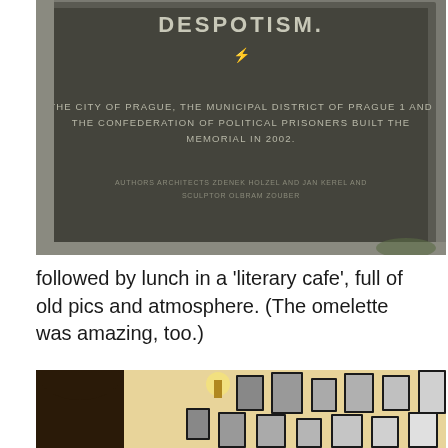[Figure (photo): A dark bronze/stone memorial plaque with engraved text reading: '...URED BY TOTALITARIAN DESPOTISM. THE CITY OF PRAGUE, THE MUNICIPAL DISTRICT OF PRAGUE 1 AND THE CONFEDERATION OF POLITICAL PRISONERS BUILT THIS MEMORIAL IN 2002. AUTHORS ARCHITECTS ZDENEK HOLZEL AND JAN KEREL AND SCULPTOR OLBRAM ZOUBER.']
followed by lunch in a 'literary cafe', full of old pics and atmosphere. (The omelette was amazing, too.)
[Figure (photo): Interior of a literary cafe with warm yellow walls, an arched doorway on the left, a wall sconce light, and a gallery wall covered in many framed black-and-white and color portrait photographs of various people.]